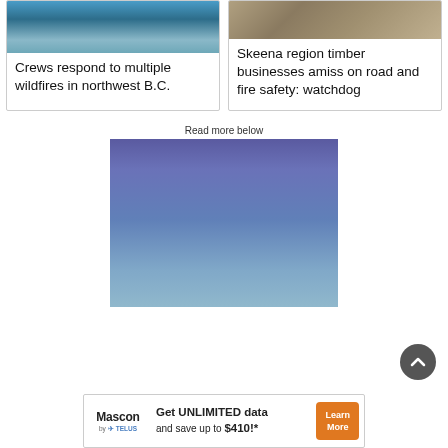[Figure (photo): Landscape photo of lake and mountains]
Crews respond to multiple wildfires in northwest B.C.
[Figure (photo): Close-up photo of rocks or timber]
Skeena region timber businesses amiss on road and fire safety: watchdog
Read more below
[Figure (photo): Blue gradient advertisement image placeholder]
[Figure (infographic): Mascon by TELUS advertisement: Get UNLIMITED data and save up to $410!*]